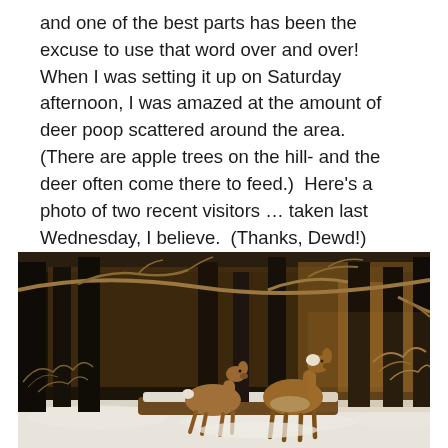and one of the best parts has been the excuse to use that word over and over!  When I was setting it up on Saturday afternoon, I was amazed at the amount of deer poop scattered around the area.  (There are apple trees on the hill- and the deer often come there to feed.)  Here's a photo of two recent visitors … taken last Wednesday, I believe.  (Thanks, Dewd!)
[Figure (photo): Two deer standing in a snowy wooded area with bare trees and branches in the foreground and background. Snow is visible on the ground.]